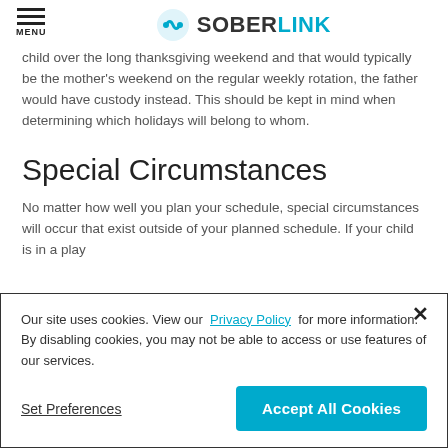MENU | SOBERLINK
child over the long thanksgiving weekend and that would typically be the mother's weekend on the regular weekly rotation, the father would have custody instead. This should be kept in mind when determining which holidays will belong to whom.
Special Circumstances
No matter how well you plan your schedule, special circumstances will occur that exist outside of your planned schedule. If your child is in a play
Our site uses cookies. View our Privacy Policy for more information. By disabling cookies, you may not be able to access or use features of our services.
Set Preferences
Accept All Cookies